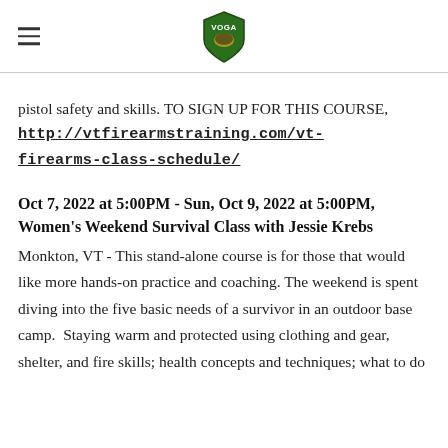VOGA (logo)
pistol safety and skills. TO SIGN UP FOR THIS COURSE, http://vtfirearmstraining.com/vt-firearms-class-schedule/
Oct 7, 2022 at 5:00PM - Sun, Oct 9, 2022 at 5:00PM, Women's Weekend Survival Class with Jessie Krebs
Monkton, VT - This stand-alone course is for those that would like more hands-on practice and coaching. The weekend is spent diving into the five basic needs of a survivor in an outdoor base camp.  Staying warm and protected using clothing and gear, shelter, and fire skills; health concepts and techniques; what to do